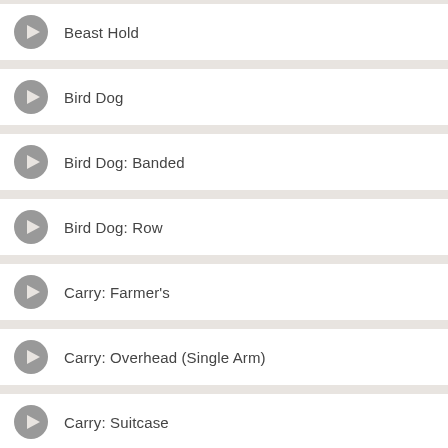Beast Hold
Bird Dog
Bird Dog: Banded
Bird Dog: Row
Carry: Farmer's
Carry: Overhead (Single Arm)
Carry: Suitcase
Carry: Waiter's